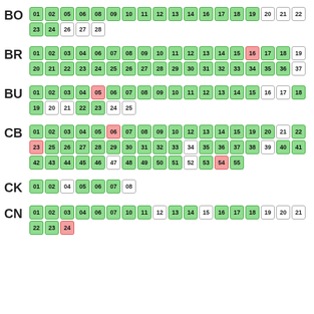BO
01 02 05 06 08 09 10 11 12 13 14 16 17 18 19 20 21 22 23 24 26 27 28
BR
01 02 03 04 06 07 08 09 10 11 12 13 14 15 16 17 18 19 20 21 22 23 24 25 26 27 28 29 30 31 32 33 34 35 36 37
BU
01 02 03 04 05 06 07 08 09 10 11 12 13 14 15 16 17 18 19 20 21 22 23 24 25
CB
01 02 03 04 05 06 07 08 09 10 12 13 14 15 19 20 21 22 23 25 26 27 28 29 30 31 32 33 34 35 36 37 38 39 40 41 42 43 44 45 46 47 48 49 50 51 52 53 54 55
CK
01 02 04 05 06 07 08
CN
01 02 03 04 06 07 10 11 12 13 14 15 16 17 18 19 20 21 22 23 24